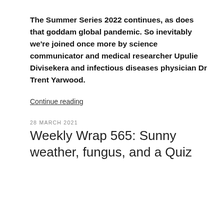The Summer Series 2022 continues, as does that goddam global pandemic. So inevitably we're joined once more by science communicator and medical researcher Upulie Divisekera and infectious diseases physician Dr Trent Yarwood.
Continue reading
28 MARCH 2021
Weekly Wrap 565: Sunny weather, fungus, and a Quiz